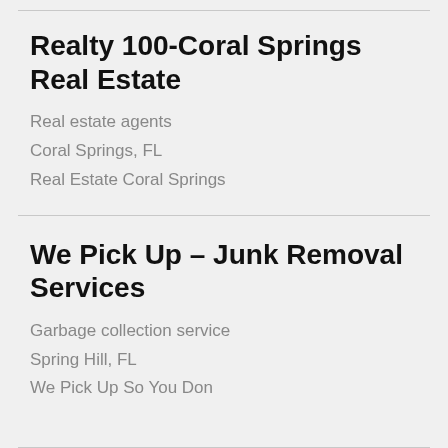Realty 100-Coral Springs Real Estate
Real estate agents
Coral Springs, FL
Real Estate Coral Springs
We Pick Up – Junk Removal Services
Garbage collection service
Spring Hill, FL
We Pick Up So You Don